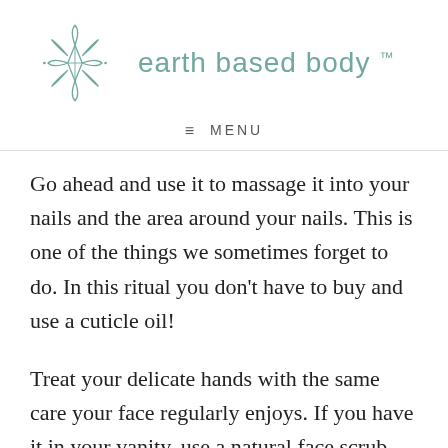[Figure (logo): Earth Based Body logo: a geometric leaf/flower outline in teal/sage green, with the brand name 'earth based body™' in teal sans-serif text to the right]
≡ MENU
Go ahead and use it to massage it into your nails and the area around your nails. This is one of the things we sometimes forget to do. In this ritual you don't have to buy and use a cuticle oil!
Treat your delicate hands with the same care your face regularly enjoys. If you have it in your vanity, use a natural face scrub like